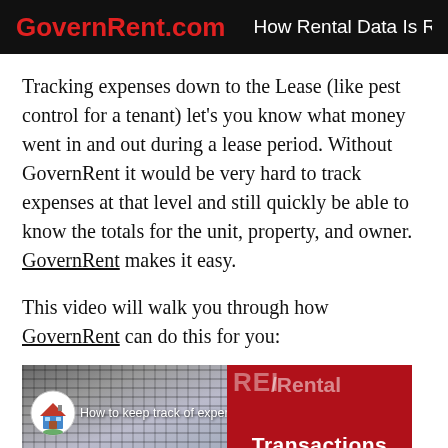GovernRent.com | How Rental Data Is Relational
Tracking expenses down to the Lease (like pest control for a tenant) let's you know what money went in and out during a lease period. Without GovernRent it would be very hard to track expenses at that level and still quickly be able to know the totals for the unit, property, and owner. GovernRent makes it easy.
This video will walk you through how GovernRent can do this for you:
[Figure (screenshot): Video thumbnail showing a house icon on a keyboard background on the left, with text 'How to keep track of expenses at' overlaid, and a red panel on the right showing 'REI Rental Transactions' text.]